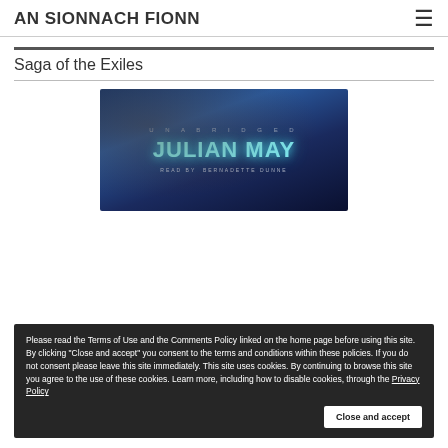AN SIONNACH FIONN
Saga of the Exiles
[Figure (photo): Book cover image for Julian May audiobook, unabridged, read by Bernadette Dunne. Dark blue toned cover with glowing teal text reading 'JULIAN MAY' and subtitle 'READ BY BERNADETTE DUNNE'. The word 'UNABRIDGED' appears at the top in spaced capitals.]
Please read the Terms of Use and the Comments Policy linked on the home page before using this site. By clicking "Close and accept" you consent to the terms and conditions within these policies. If you do not consent please leave this site immediately. This site uses cookies. By continuing to browse this site you agree to the use of these cookies. Learn more, including how to disable cookies, through the Privacy Policy
Close and accept